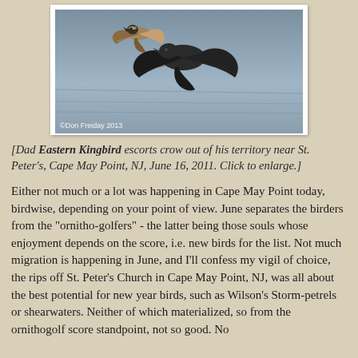[Figure (photo): Two birds in flight over water — a smaller Eastern Kingbird and a larger crow. Photo credit: Don Freiday 2013]
[Dad Eastern Kingbird escorts crow out of his territory near St. Peter's, Cape May Point, NJ, June 16, 2011. Click to enlarge.]
Either not much or a lot was happening in Cape May Point today, birdwise, depending on your point of view. June separates the birders from the "ornitho-golfers" - the latter being those souls whose enjoyment depends on the score, i.e. new birds for the list. Not much migration is happening in June, and I'll confess my vigil of choice, the rips off St. Peter's Church in Cape May Point, NJ, was all about the best potential for new year birds, such as Wilson's Storm-petrels or shearwaters. Neither of which materialized, so from the ornithogolf score standpoint, not so good. No